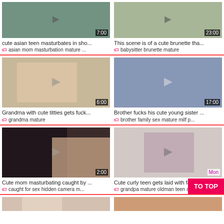[Figure (screenshot): Video thumbnail grid - adult video website screenshot with 8 video cards in 2 columns]
cute asian teen masturbates in sho...
asian mom   masturbation   mature ...
This scene is of a cute brunette tha...
babysitter   brunette   mature
Grandma with cute titties gets fuck...
grandma   mature
Brother fucks his cute young sister ...
brother   family sex   mature   milf p...
Cute mom masturbating caught by ...
caught for sex   hidden camera   m...
Cute curly teen gets laid with fat gr...
grandpa   mature   oldman   teen an...